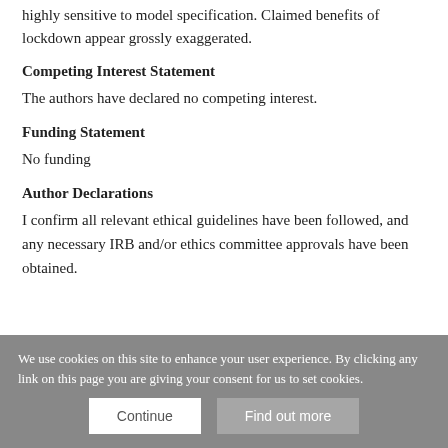highly sensitive to model specification. Claimed benefits of lockdown appear grossly exaggerated.
Competing Interest Statement
The authors have declared no competing interest.
Funding Statement
No funding
Author Declarations
I confirm all relevant ethical guidelines have been followed, and any necessary IRB and/or ethics committee approvals have been obtained.
We use cookies on this site to enhance your user experience. By clicking any link on this page you are giving your consent for us to set cookies.